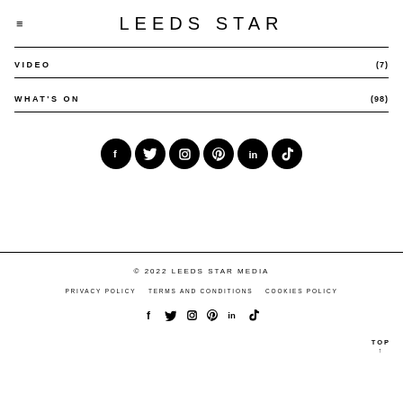LEEDS STAR
VIDEO (7)
WHAT'S ON (98)
[Figure (other): Row of six social media icon buttons (Facebook, Twitter, Instagram, Pinterest, LinkedIn, TikTok) in black circles — large size]
© 2022 LEEDS STAR MEDIA
PRIVACY POLICY   TERMS AND CONDITIONS   COOKIES POLICY
[Figure (other): Row of six social media icons (Facebook, Twitter, Instagram, Pinterest, LinkedIn, TikTok) — small size in footer]
TOP ↑